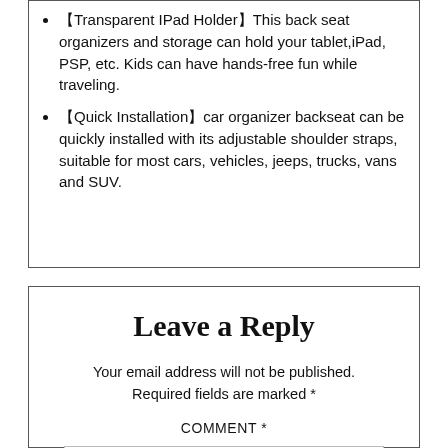【Transparent IPad Holder】This back seat organizers and storage can hold your tablet,iPad, PSP, etc. Kids can have hands-free fun while traveling.
【Quick Installation】car organizer backseat can be quickly installed with its adjustable shoulder straps, suitable for most cars, vehicles, jeeps, trucks, vans and SUV.
Leave a Reply
Your email address will not be published. Required fields are marked *
COMMENT *